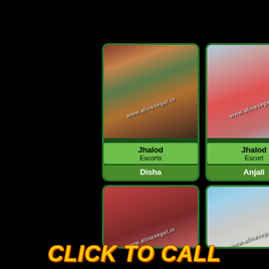[Figure (photo): Photo card of Disha, Jhalod Escorts, with watermark www.alinasegal.in]
[Figure (photo): Photo card of Anjali, Jhalod Escort, with watermark www.alinasegal.in]
[Figure (photo): Partial photo card bottom left, with watermark]
[Figure (photo): Partial photo card bottom right, with watermark]
CLICK TO CALL